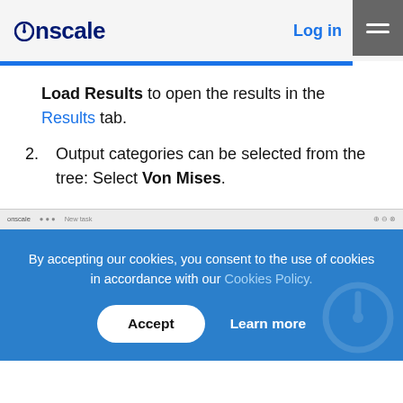onscale  Log in
Load Results to open the results in the Results tab.
2. Output categories can be selected from the tree: Select Von Mises.
[Figure (screenshot): Partial screenshot of OnScale web application browser bar]
By accepting our cookies, you consent to the use of cookies in accordance with our Cookies Policy.
Accept  Learn more